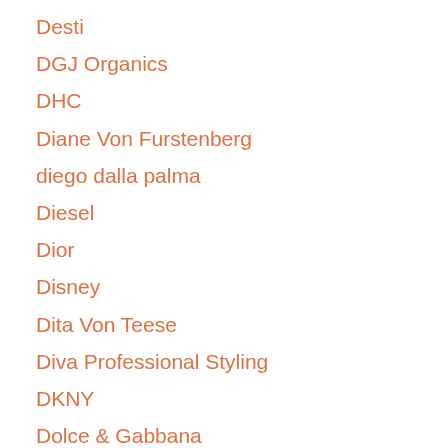Desti
DGJ Organics
DHC
Diane Von Furstenberg
diego dalla palma
Diesel
Dior
Disney
Dita Von Teese
Diva Professional Styling
DKNY
Dolce & Gabbana